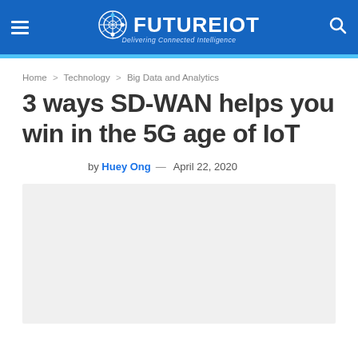FUTUREIOT – Delivering Connected Intelligence
Home > Technology > Big Data and Analytics
3 ways SD-WAN helps you win in the 5G age of IoT
by Huey Ong — April 22, 2020
[Figure (photo): Article hero image placeholder (light grey rectangle)]